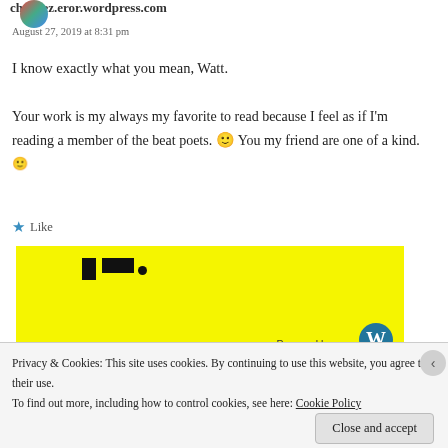charliez.eror.wordpress.com
August 27, 2019 at 8:31 pm
I know exactly what you mean, Watt.
Your work is my always my favorite to read because I feel as if I'm reading a member of the beat poets. 🙂 You my friend are one of a kind. 🙂
Like
[Figure (screenshot): Yellow background image with black bars/logo at top-left and WordPress logo at bottom-right, partially visible. Text 'Powered by' with WordPress W logo.]
Privacy & Cookies: This site uses cookies. By continuing to use this website, you agree to their use. To find out more, including how to control cookies, see here: Cookie Policy
Close and accept